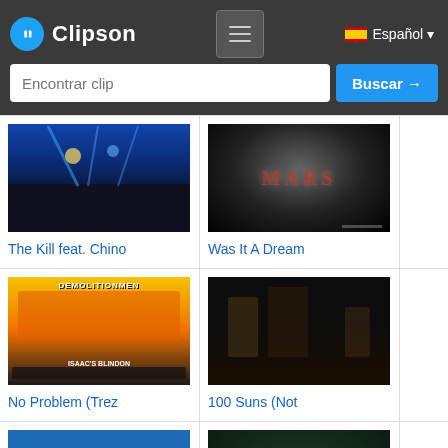[Figure (screenshot): Clipson website header with logo, hamburger menu, Español language selector, and search bar with Encontrar clip placeholder and Buscar button]
[Figure (screenshot): Video thumbnail of a concert with blue stage lights and crowd - The Kill feat. Chino]
The Kill feat. Chino
[Figure (screenshot): Video thumbnail showing MARS text on dark smoky background - Was It A Dream]
Was It A Dream
[Figure (screenshot): Video thumbnail of Demolition Men event poster - No Problem (Trez]
No Problem (Trez
[Figure (screenshot): Video thumbnail of dark stage with performers - 100 Suns (Not]
100 Suns (Not
[Figure (screenshot): Video thumbnail showing an Excel spreadsheet]
[Figure (screenshot): Video thumbnail of a person with hands raised against dark background]